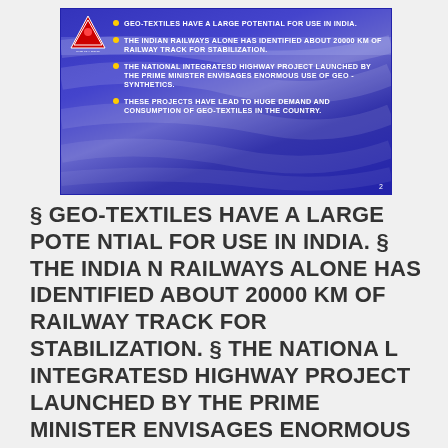[Figure (screenshot): Presentation slide with blue gradient background and logo showing bullet points about geo-textiles potential in India, Indian Railways stabilization project, National Integrated Highway Project, and demand for geo-textiles.]
§ GEO-TEXTILES HAVE A LARGE POTENTIAL FOR USE IN INDIA. § THE INDIAN RAILWAYS ALONE HAS IDENTIFIED ABOUT 20000 KM OF RAILWAY TRACK FOR STABILIZATION. § THE NATIONAL INTEGRATESD HIGHWAY PROJECT LAUNCHED BY THE PRIME MINISTER ENVISAGES ENORMOUS USE OF GEO -SYNTHETICS. § THESE PROJECTS HAVE LEAD TO HUGE DEMAND CONSUMPTION OF GEO-TEXTILES IN THE COUNTRY. 3